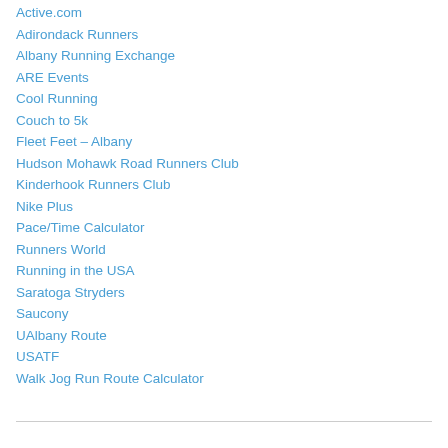Active.com
Adirondack Runners
Albany Running Exchange
ARE Events
Cool Running
Couch to 5k
Fleet Feet – Albany
Hudson Mohawk Road Runners Club
Kinderhook Runners Club
Nike Plus
Pace/Time Calculator
Runners World
Running in the USA
Saratoga Stryders
Saucony
UAlbany Route
USATF
Walk Jog Run Route Calculator